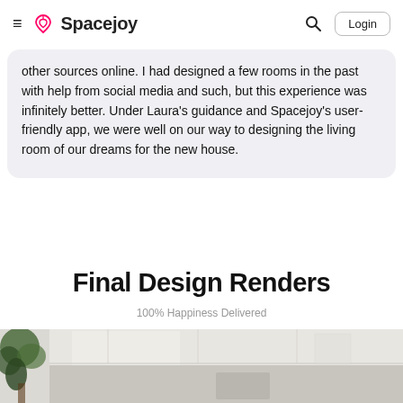Spacejoy
other sources online. I had designed a few rooms in the past with help from social media and such, but this experience was infinitely better. Under Laura's guidance and Spacejoy's user-friendly app, we were well on our way to designing the living room of our dreams for the new house.
Final Design Renders
100% Happiness Delivered
[Figure (photo): Interior living room photo showing a bright white room with ceiling details and a plant on the left side.]